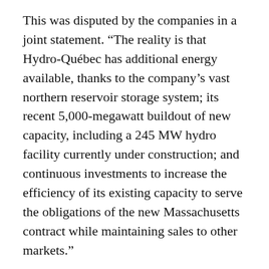This was disputed by the companies in a joint statement. “The reality is that Hydro-Québec has additional energy available, thanks to the company’s vast northern reservoir storage system; its recent 5,000-megawatt buildout of new capacity, including a 245 MW hydro facility currently under construction; and continuous investments to increase the efficiency of its existing capacity to serve the obligations of the new Massachusetts contract while maintaining sales to other markets.”
Francis Pullaro, executive director of the clean energy trade association RENEW Northeast, raised other objections. He said the project would crowd out domestic clean energy resources that could